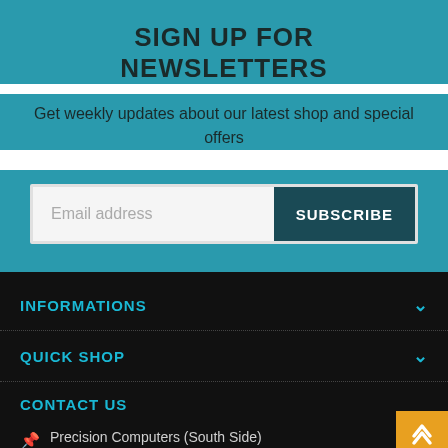SIGN UP FOR NEWSLETTERS
Get weekly updates about our latest shop and special offers
Email address  SUBSCRIBE
INFORMATIONS
QUICK SHOP
CONTACT US
Precision Computers (South Side)
5/1230 Logan Road, Mt Gravatt, Qld 4122
Precision Computers (No...
4/20 Fortune Street, Geeb...
Leave a message